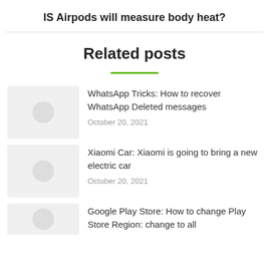IS Airpods will measure body heat?
Related posts
[Figure (illustration): Thumbnail placeholder with circle icon for WhatsApp article]
WhatsApp Tricks: How to recover WhatsApp Deleted messages
October 20, 2021
[Figure (illustration): Thumbnail placeholder with circle icon for Xiaomi article]
Xiaomi Car: Xiaomi is going to bring a new electric car
October 20, 2021
[Figure (illustration): Thumbnail placeholder partial for Google Play Store article]
Google Play Store: How to change Play Store Region: change to all